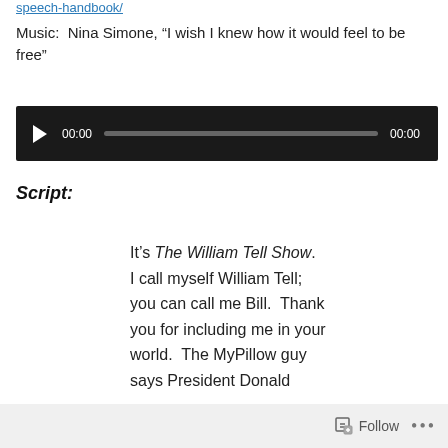speech-handbook/
Music:  Nina Simone, “I wish I knew how it would feel to be free”
[Figure (other): Audio player with play button, progress bar showing 00:00 and 00:00 timestamps on dark background]
Script:
It’s The William Tell Show. I call myself William Tell; you can call me Bill.  Thank you for including me in your world.  The MyPillow guy says President Donald
Follow ...